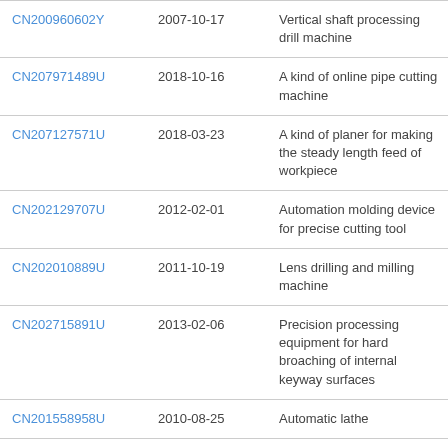| CN200960602Y | 2007-10-17 | Vertical shaft processing drill machine |
| CN207971489U | 2018-10-16 | A kind of online pipe cutting machine |
| CN207127571U | 2018-03-23 | A kind of planer for making the steady length feed of workpiece |
| CN202129707U | 2012-02-01 | Automation molding device for precise cutting tool |
| CN202010889U | 2011-10-19 | Lens drilling and milling machine |
| CN202715891U | 2013-02-06 | Precision processing equipment for hard broaching of internal keyway surfaces |
| CN201558958U | 2010-08-25 | Automatic lathe |
| CN209477734U | 2019-10-11 | Move horizontally the mobile axis rotary cutting tool of three axis of positioning |